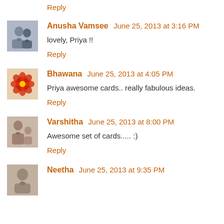Reply
[Figure (photo): Avatar photo of Anusha Vamsee - a person]
Anusha Vamsee  June 25, 2013 at 3:16 PM
lovely, Priya !!
Reply
[Figure (photo): Avatar photo of Bhawana - a red flower]
Bhawana  June 25, 2013 at 4:05 PM
Priya awesome cards.. really fabulous ideas.
Reply
[Figure (photo): Avatar photo of Varshitha - a person with child]
Varshitha  June 25, 2013 at 8:00 PM
Awesome set of cards..... :)
Reply
[Figure (photo): Avatar photo of Neetha - a person]
Neetha  June 25, 2013 at 9:35 PM